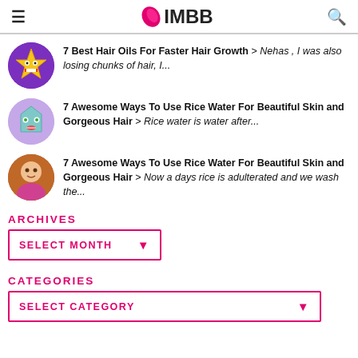IMBB
7 Best Hair Oils For Faster Hair Growth > Nehas , I was also losing chunks of hair, I...
7 Awesome Ways To Use Rice Water For Beautiful Skin and Gorgeous Hair > Rice water is water after...
7 Awesome Ways To Use Rice Water For Beautiful Skin and Gorgeous Hair > Now a days rice is adulterated and we wash the...
ARCHIVES
SELECT MONTH
CATEGORIES
SELECT CATEGORY